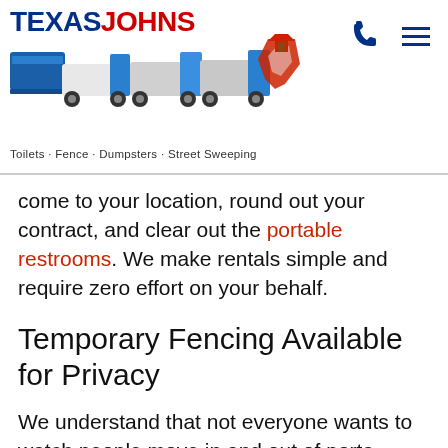Texas Johns - Toilets · Fence · Dumpsters · Street Sweeping
come to your location, round out your contract, and clear out the portable restrooms. We make rentals simple and require zero effort on your behalf.
Temporary Fencing Available for Privacy
We understand that not everyone wants to watch people move in and out of porta-potties during your reception. That's why Texas Johns also offers temporary fencing to our clients who want to add an extra layer of privacy to their